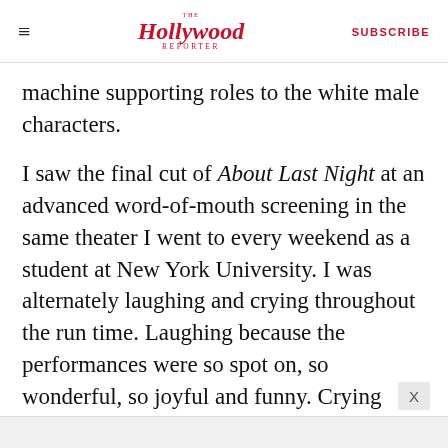The Hollywood Reporter | SUBSCRIBE
machine supporting roles to the white male characters.
I saw the final cut of About Last Night at an advanced word-of-mouth screening in the same theater I went to every weekend as a student at New York University. I was alternately laughing and crying throughout the run time. Laughing because the performances were so spot on, so wonderful, so joyful and funny. Crying because I was so touched and grateful. While there is a fair amount of improvisation in the film (I mean, when you have that cast, you IMPROVISE!), a large percentage of